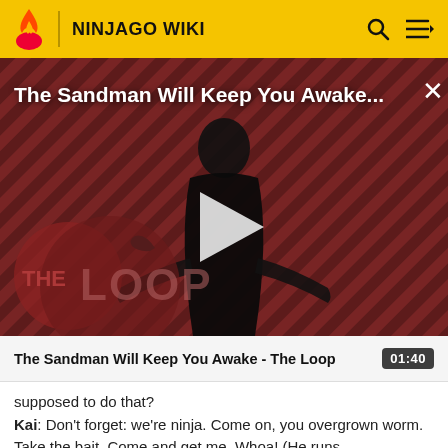NINJAGO WIKI
[Figure (screenshot): Video thumbnail for 'The Sandman Will Keep You Awake...' showing a dark-robed figure against a red and black diagonal stripe background, with 'THE LOOP' logo in lower left and a play button in the center.]
The Sandman Will Keep You Awake - The Loop  01:40
supposed to do that?
Kai: Don't forget: we're ninja. Come on, you overgrown worm. Take the bait. Come and get me. Whoa! (He runs...